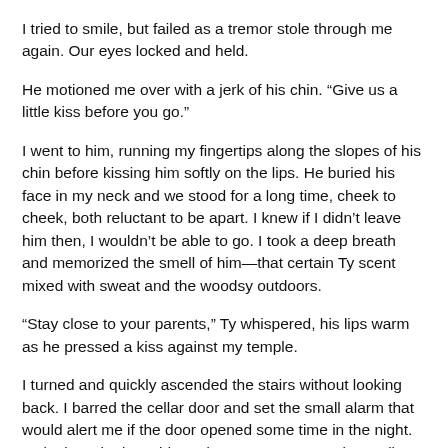I tried to smile, but failed as a tremor stole through me again. Our eyes locked and held.
He motioned me over with a jerk of his chin. “Give us a little kiss before you go.”
I went to him, running my fingertips along the slopes of his chin before kissing him softly on the lips. He buried his face in my neck and we stood for a long time, cheek to cheek, both reluctant to be apart. I knew if I didn’t leave him then, I wouldn’t be able to go. I took a deep breath and memorized the smell of him—that certain Ty scent mixed with sweat and the woodsy outdoors.
“Stay close to your parents,” Ty whispered, his lips warm as he pressed a kiss against my temple.
I turned and quickly ascended the stairs without looking back. I barred the cellar door and set the small alarm that would alert me if the door opened some time in the night. Melanie waited outside and gave me a reassuring smile as